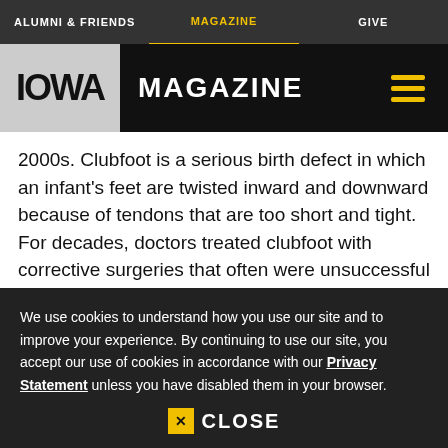ALUMNI & FRIENDS | MAGAZINE | GIVE
IOWA MAGAZINE
2000s. Clubfoot is a serious birth defect in which an infant's feet are twisted inward and downward because of tendons that are too short and tight. For decades, doctors treated clubfoot with corrective surgeries that often were unsuccessful or led to lifelong pain. Ponseti, however, developed a simple, non-surgical solution. The kindly Iowa doctor found that through gentle manipulations of a baby's still pliable feet, coupled with a
We use cookies to understand how you use our site and to improve your experience. By continuing to use our site, you accept our use of cookies in accordance with our Privacy Statement unless you have disabled them in your browser.
CLOSE